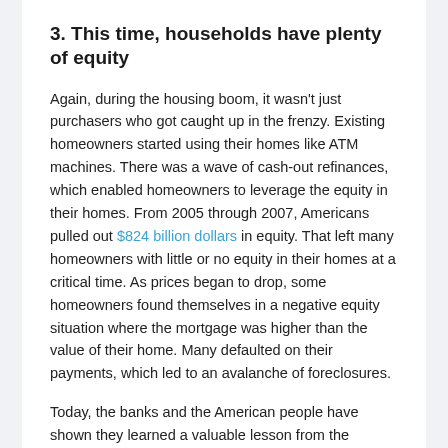3. This time, households have plenty of equity
Again, during the housing boom, it wasn't just purchasers who got caught up in the frenzy. Existing homeowners started using their homes like ATM machines. There was a wave of cash-out refinances, which enabled homeowners to leverage the equity in their homes. From 2005 through 2007, Americans pulled out $824 billion dollars in equity. That left many homeowners with little or no equity in their homes at a critical time. As prices began to drop, some homeowners found themselves in a negative equity situation where the mortgage was higher than the value of their home. Many defaulted on their payments, which led to an avalanche of foreclosures.
Today, the banks and the American people have shown they learned a valuable lesson from the